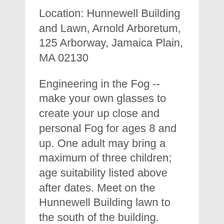Location: Hunnewell Building and Lawn, Arnold Arboretum, 125 Arborway, Jamaica Plain, MA 02130
Engineering in the Fog --make your own glasses to create your up close and personal Fog for ages 8 and up. One adult may bring a maximum of three children; age suitability listed above after dates. Meet on the Hunnewell Building lawn to the south of the building.  Free, drop in, no registration required.
...